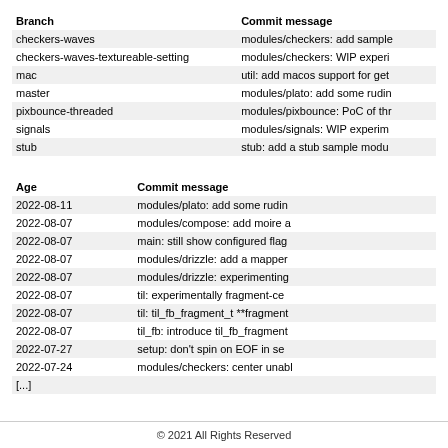| Branch | Commit message |
| --- | --- |
| checkers-waves | modules/checkers: add sample |
| checkers-waves-textureable-setting | modules/checkers: WIP experi |
| mac | util: add macos support for get |
| master | modules/plato: add some rudin |
| pixbounce-threaded | modules/pixbounce: PoC of thr |
| signals | modules/signals: WIP experim |
| stub | stub: add a stub sample modu |
| Age | Commit message |
| --- | --- |
| 2022-08-11 | modules/plato: add some rudin |
| 2022-08-07 | modules/compose: add moire a |
| 2022-08-07 | main: still show configured flag |
| 2022-08-07 | modules/drizzle: add a mapper |
| 2022-08-07 | modules/drizzle: experimenting |
| 2022-08-07 | til: experimentally fragment-ce |
| 2022-08-07 | til: til_fb_fragment_t **fragment |
| 2022-08-07 | til_fb: introduce til_fb_fragment |
| 2022-07-27 | setup: don't spin on EOF in se |
| 2022-07-24 | modules/checkers: center unabl |
| [...] |  |
© 2021 All Rights Reserved